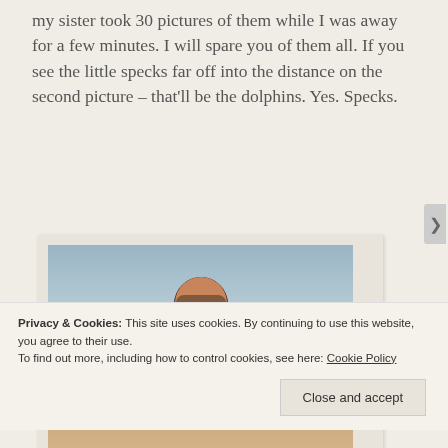my sister took 30 pictures of them while I was away for a few minutes. I will spare you of them all. If you see the little specks far off into the distance on the second picture – that'll be the dolphins. Yes. Specks.
[Figure (photo): A woman wearing sunglasses and a black swimsuit top standing on a beach with the ocean visible in the background. Photo appears slightly washed out/overexposed.]
Privacy & Cookies: This site uses cookies. By continuing to use this website, you agree to their use.
To find out more, including how to control cookies, see here: Cookie Policy